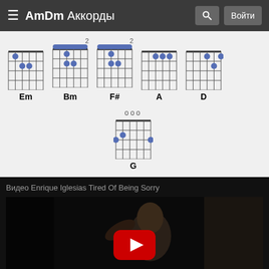AmDm Аккорды
[Figure (illustration): Guitar chord diagrams for Em, Bm, F#, A, D, G chords shown as fretboard grids with dot positions]
[Figure (screenshot): YouTube video thumbnail for Enrique Iglesias Tired Of Being Sorry with play button overlay]